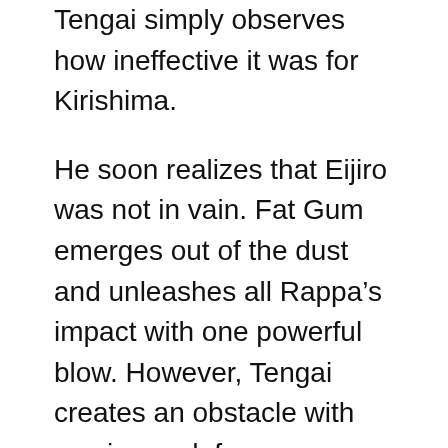Tengai simply observes how ineffective it was for Kirishima.
He soon realizes that Eijiro was not in vain. Fat Gum emerges out of the dust and unleashes all Rappa’s impact with one powerful blow. However, Tengai creates an obstacle with maximum defense, absorbs most impact, and prevents the two from being eliminated. Rappa stands up and insists that this is a fight to death. He is still alive. Fat Gum is asked to transport Eijiro into the next room, bringing him first-aid supplies. Tengai questions Rappa about his selfishness and demands that he obey his orders. But Rappa beats Tengai, stomping on Tengai’s chest, and declares that Eijiro deserves a fight to death.
Fat Gum inquires about Chisaki’s plans and why Rappa follows him. Rappa then tells Fat Gum that Chisaki would like to reestablish Yakuza and that he is available to